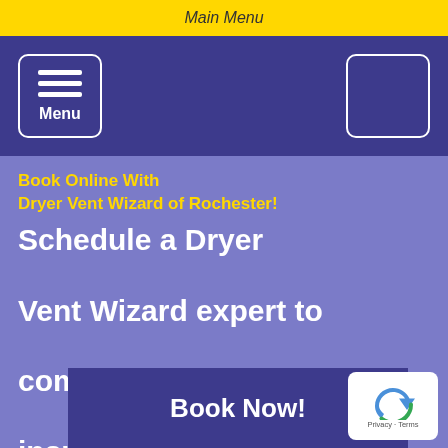Main Menu
[Figure (screenshot): Navigation bar with hamburger menu button on left and empty box on right, on dark blue/purple background]
Book Online With Dryer Vent Wizard of Rochester!
Schedule a Dryer Vent Wizard expert to come clean, install, inspect, or repair your dryer vent.
Book Now!
[Figure (logo): reCAPTCHA badge with circular arrow logo and Privacy - Terms text]